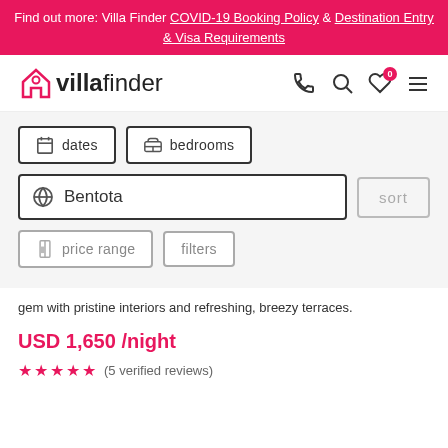Find out more: Villa Finder COVID-19 Booking Policy & Destination Entry & Visa Requirements
[Figure (logo): Villa Finder logo with house icon in pink]
dates  bedrooms  Bentota  sort  price range  filters
gem with pristine interiors and refreshing, breezy terraces.
USD 1,650 /night
★★★★★ (5 verified reviews)